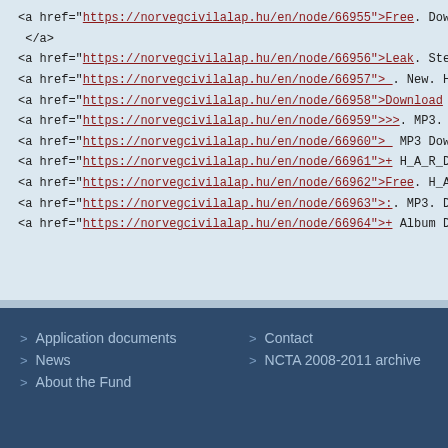<a href="https://norvegcivilalap.hu/en/node/66955">Free. Download </a>
</a>
<a href="https://norvegcivilalap.hu/en/node/66956">Leak. Steven. Ty
<a href="https://norvegcivilalap.hu/en/node/66957">_. New. H_A_R_
<a href="https://norvegcivilalap.hu/en/node/66958">Download Jeff Be
<a href="https://norvegcivilalap.hu/en/node/66959">>>. MP3. Downloa
<a href="https://norvegcivilalap.hu/en/node/66960">_ MP3 Download
<a href="https://norvegcivilalap.hu/en/node/66961">+ H_A_R_D_L_C
<a href="https://norvegcivilalap.hu/en/node/66962">Free. H_A_R_D_
<a href="https://norvegcivilalap.hu/en/node/66963">:. MP3. Downloa
<a href="https://norvegcivilalap.hu/en/node/66964">+ Album Downloa
Application documents
News
About the Fund
Contact
NCTA 2008-2011 archive